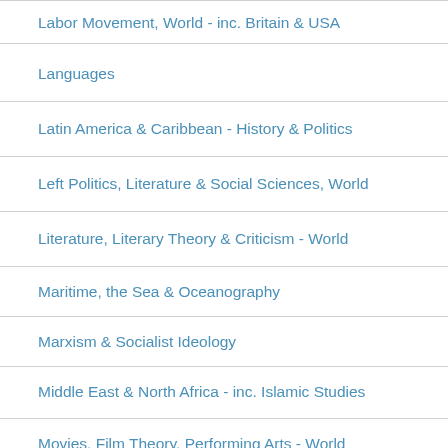Labor Movement, World - inc. Britain & USA
Languages
Latin America & Caribbean - History & Politics
Left Politics, Literature & Social Sciences, World
Literature, Literary Theory & Criticism - World
Maritime, the Sea & Oceanography
Marxism & Socialist Ideology
Middle East & North Africa - inc. Islamic Studies
Movies, Film Theory, Performing Arts - World
Music, Rock & Classical